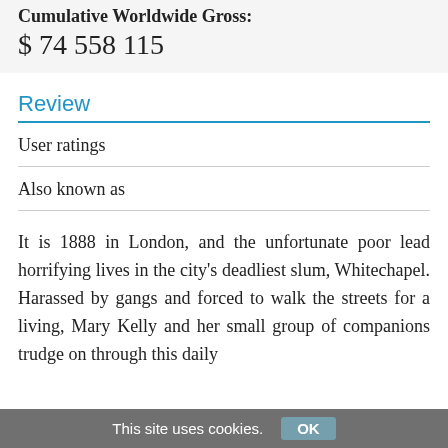Cumulative Worldwide Gross:
$ 74 558 115
Review
User ratings
Also known as
It is 1888 in London, and the unfortunate poor lead horrifying lives in the city's deadliest slum, Whitechapel. Harassed by gangs and forced to walk the streets for a living, Mary Kelly and her small group of companions trudge on through this daily